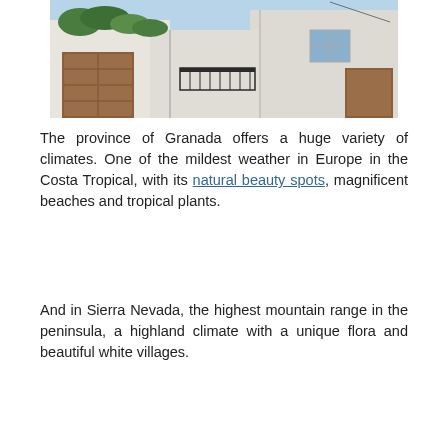[Figure (photo): Photo of white Mediterranean-style buildings with a wooden garage door covered in green ivy, a wrought iron balcony railing, and blue sky in the background — typical Andalusian white village architecture.]
The province of Granada offers a huge variety of climates. One of the mildest weather in Europe in the Costa Tropical, with its natural beauty spots, magnificent beaches and tropical plants.
And in Sierra Nevada, the highest mountain range in the peninsula, a highland climate with a unique flora and beautiful white villages.